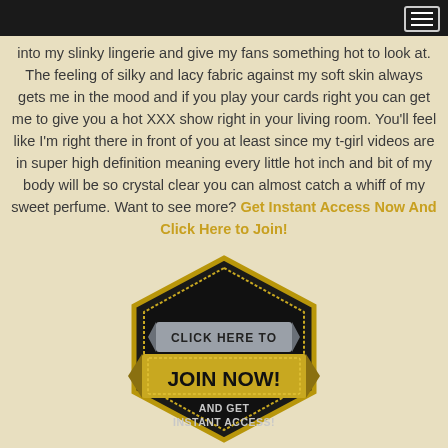into my slinky lingerie and give my fans something hot to look at. The feeling of silky and lacy fabric against my soft skin always gets me in the mood and if you play your cards right you can get me to give you a hot XXX show right in your living room. You'll feel like I'm right there in front of you at least since my t-girl videos are in super high definition meaning every little hot inch and bit of my body will be so crystal clear you can almost catch a whiff of my sweet perfume. Want to see more? Get Instant Access Now And Click Here to Join!
[Figure (illustration): Gold and black hexagonal badge with ribbon banner. Text reads: CLICK HERE TO JOIN NOW! AND GET INSTANT ACCESS!]